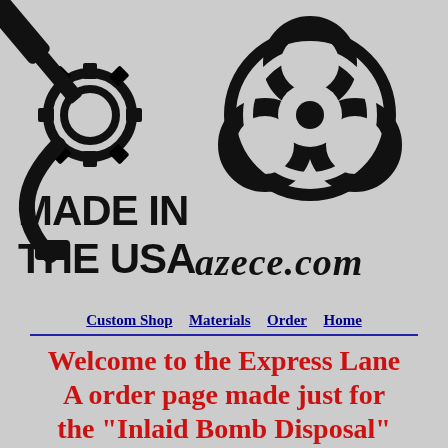[Figure (logo): Logo composed of a micrometer/gear tool icon on the left and a biohazard symbol on the right, with 'MADE IN THE USA' text in bold black on the left and 'azece.com' in decorative black font on the right]
Custom Shop   Materials   Order   Home
Welcome to the Express Lane A order page made just for the "Inlaid Bomb Disposal"